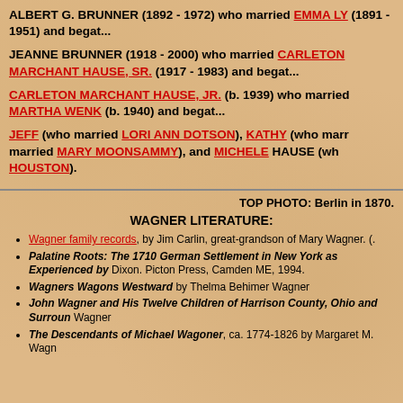ALBERT G. BRUNNER (1892 - 1972) who married EMMA LY (1891 - 1951) and begat...
JEANNE BRUNNER (1918 - 2000) who married CARLETON MARCHANT HAUSE, SR. (1917 - 1983) and begat...
CARLETON MARCHANT HAUSE, JR. (b. 1939) who married MARTHA WENK (b. 1940) and begat...
JEFF (who married LORI ANN DOTSON), KATHY (who marr married MARY MOONSAMMY), and MICHELE HAUSE (wh HOUSTON).
TOP PHOTO: Berlin in 1870.
WAGNER LITERATURE:
Wagner family records, by Jim Carlin, great-grandson of Mary Wagner. (.
Palatine Roots: The 1710 German Settlement in New York as Experienced by Dixon. Picton Press, Camden ME, 1994.
Wagners Wagons Westward by Thelma Behimer Wagner
John Wagner and His Twelve Children of Harrison County, Ohio and Surroun Wagner
The Descendants of Michael Wagoner, ca. 1774-1826 by Margaret M. Wagn